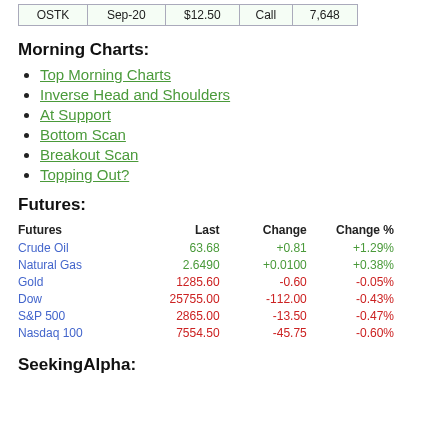|  |  |  |  |  |
| --- | --- | --- | --- | --- |
| OSTK | Sep-20 | $12.50 | Call | 7,648 |
Morning Charts:
Top Morning Charts
Inverse Head and Shoulders
At Support
Bottom Scan
Breakout Scan
Topping Out?
Futures:
| Futures | Last | Change | Change % |
| --- | --- | --- | --- |
| Crude Oil | 63.68 | +0.81 | +1.29% |
| Natural Gas | 2.6490 | +0.0100 | +0.38% |
| Gold | 1285.60 | -0.60 | -0.05% |
| Dow | 25755.00 | -112.00 | -0.43% |
| S&P 500 | 2865.00 | -13.50 | -0.47% |
| Nasdaq 100 | 7554.50 | -45.75 | -0.60% |
SeekingAlpha: